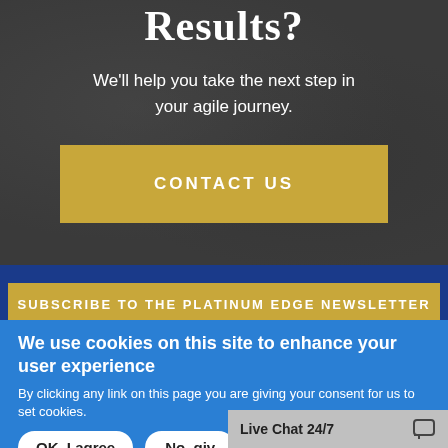Results?
We'll help you take the next step in your agile journey.
CONTACT US
SUBSCRIBE TO THE PLATINUM EDGE NEWSLETTER
We use cookies on this site to enhance your user experience
By clicking any link on this page you are giving your consent for us to set cookies.
OK, I agree
No, giv
Live Chat 24/7